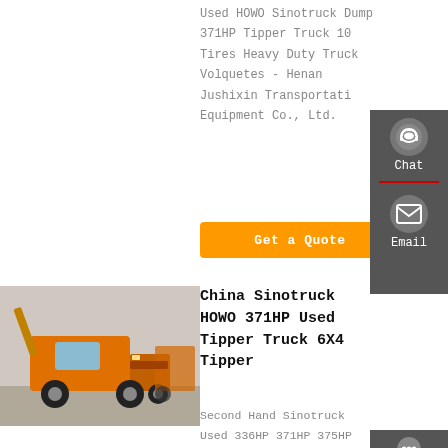Used HOWO Sinotruck Dump 371HP Tipper Truck 10 Tires Heavy Duty Truck Volquetes - Henan Jushixin Transportation Equipment Co., Ltd.
[Figure (other): Orange HOWO Sinotruck tipper truck photographed in a yard]
China Sinotruck HOWO 371HP Used Tipper Truck 6X4 Tipper
Second Hand Sinotruck Used 336HP 371HP 375HP